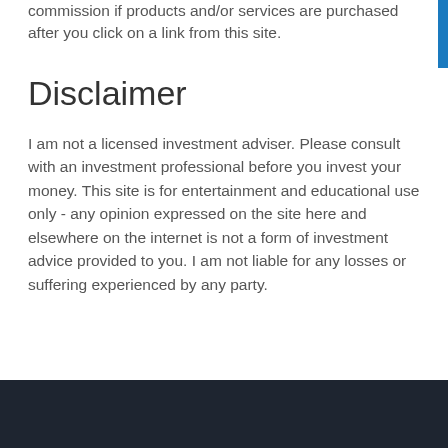commission if products and/or services are purchased after you click on a link from this site.
Disclaimer
I am not a licensed investment adviser. Please consult with an investment professional before you invest your money. This site is for entertainment and educational use only - any opinion expressed on the site here and elsewhere on the internet is not a form of investment advice provided to you. I am not liable for any losses or suffering experienced by any party.